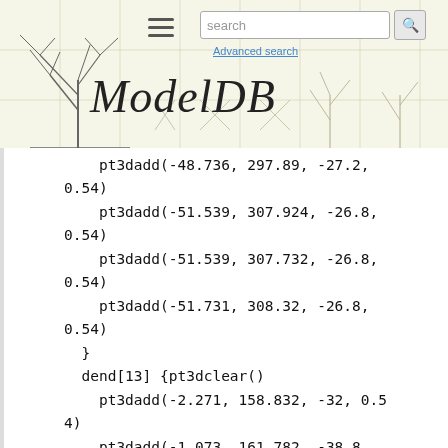ModelDB — Advanced search
pt3dadd(-48.736, 297.89, -27.2, 0.54)
    pt3dadd(-51.539, 307.924, -26.8, 0.54)
    pt3dadd(-51.539, 307.732, -26.8, 0.54)
    pt3dadd(-51.731, 308.32, -26.8, 0.54)
  }
  dend[13] {pt3dclear()
    pt3dadd(-2.271, 158.832, -32, 0.54)
    pt3dadd(-1.073, 161.782, -38.8, 0.54)
    pt3dadd(-0.881, 164.528, -38.8, 0.54)
    pt3dadd(-1.073, 164.528, -38.8, 0.54)
    pt3dadd(-2.474, 168.663, -38.8, 0.54)